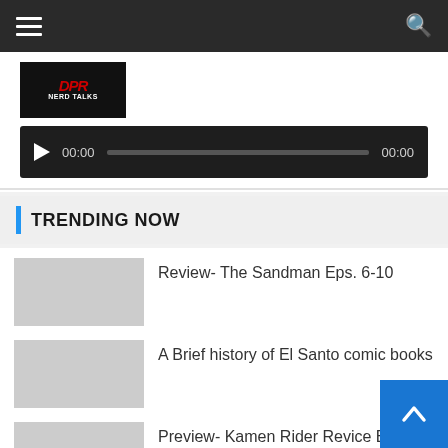Navigation bar with hamburger menu and search icon
[Figure (logo): Website logo thumbnail with red and dark background]
[Figure (screenshot): Audio player with play button, progress bar, timestamps 00:00 and 00:00]
TRENDING NOW
Review- The Sandman Eps. 6-10
A Brief history of El Santo comic books
Preview- Kamen Rider Revice Ep. 49: At the End of the Battle... Only the Demon Remains
Review- The Sandman Eps. 2-5
Review- She-Hulk: Siblings (I Am Not)